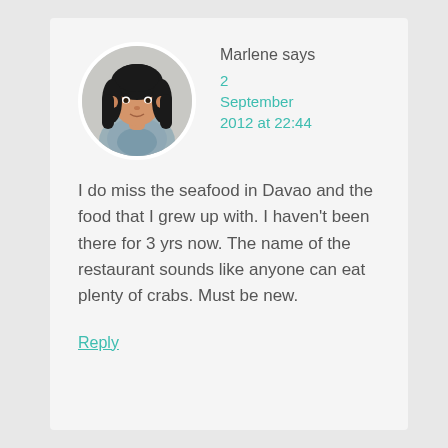[Figure (photo): Circular avatar photo of a woman with dark hair, smiling, wearing a patterned top, white background]
Marlene says
2 September 2012 at 22:44
I do miss the seafood in Davao and the food that I grew up with. I haven't been there for 3 yrs now. The name of the restaurant sounds like anyone can eat plenty of crabs. Must be new.
Reply